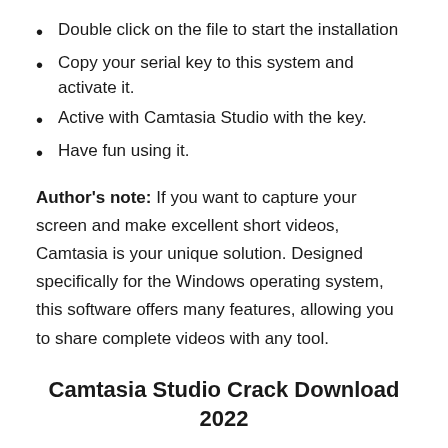Double click on the file to start the installation
Copy your serial key to this system and activate it.
Active with Camtasia Studio with the key.
Have fun using it.
Author's note: If you want to capture your screen and make excellent short videos, Camtasia is your unique solution. Designed specifically for the Windows operating system, this software offers many features, allowing you to share complete videos with any tool.
Camtasia Studio Crack Download 2022